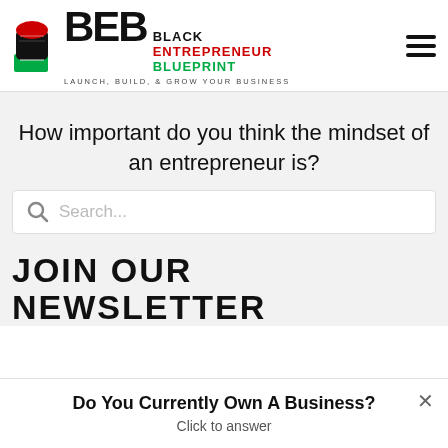[Figure (logo): Black Entrepreneur Blueprint logo with raised fist icon and text BEB, tagline LAUNCH, BUILD, & GROW YOUR BUSINESS]
How important do you think the mindset of an entrepreneur is?
[Figure (screenshot): Search bar with magnifying glass icon and placeholder text 'Search...']
JOIN OUR NEWSLETTER
Do You Currently Own A Business?
Click to answer